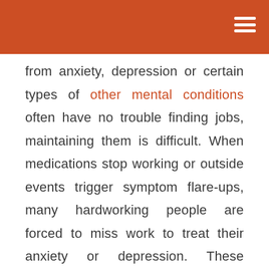from anxiety, depression or certain types of other mental conditions often have no trouble finding jobs, maintaining them is difficult. When medications stop working or outside events trigger symptom flare-ups, many hardworking people are forced to miss work to treat their anxiety or depression. These diseases can also result in added stress, missed deadlines, anxiety attacks and changes in mood and personality.